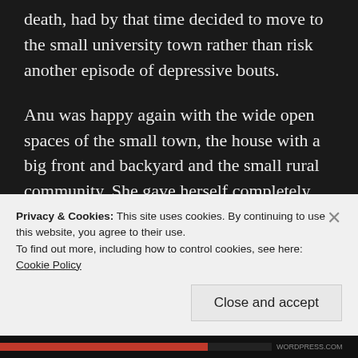death, had by that time decided to move to the small university town rather than risk another episode of depressive bouts.
Anu was happy again with the wide open spaces of the small town, the house with a big front and backyard and the small rural community. She gave herself completely into bringing up her son and the daughter that they were blessed with after their move to the town. She was a good mother. Many times when Arun felt
Privacy & Cookies: This site uses cookies. By continuing to use this website, you agree to their use.
To find out more, including how to control cookies, see here:
Cookie Policy
Close and accept